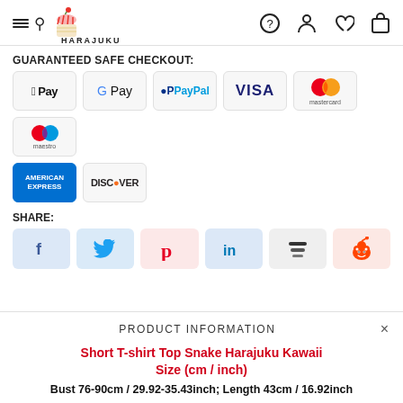HARAJUKU
GUARANTEED SAFE CHECKOUT:
[Figure (infographic): Payment method logos: Apple Pay, G Pay, PayPal, VISA, Mastercard, Maestro, American Express, Discover]
SHARE:
[Figure (infographic): Social share icons: Facebook, Twitter, Pinterest, LinkedIn, Buffer, Reddit]
PRODUCT INFORMATION
Short T-shirt Top Snake Harajuku Kawaii Size (cm / inch)
Bust 76-90cm / 29.92-35.43inch; Length 43cm / 16.92inch